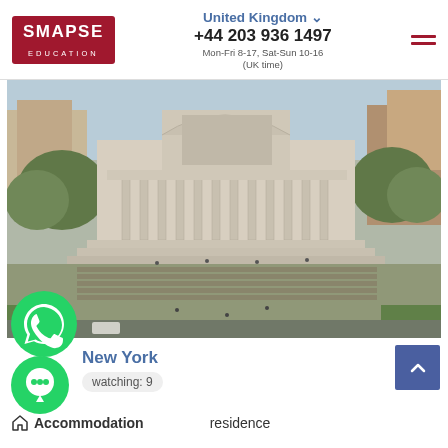SMAPSE EDUCATION | United Kingdom | +44 203 936 1497 | Mon-Fri 8-17, Sat-Sun 10-16 (UK time)
[Figure (photo): Aerial/frontal view of a large neoclassical university building (Columbia University Low Library) with columns and steps, surrounded by trees and open plaza with people walking]
New York
watching: 9
Accommodation   residence